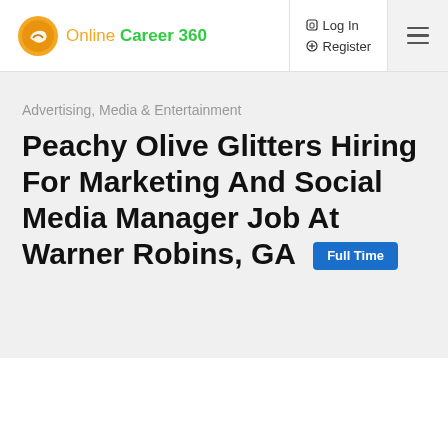Online Career 360 — Log In | Register
Advertising, Media & Entertainment
Peachy Olive Glitters Hiring For Marketing And Social Media Manager Job At Warner Robins, GA  Full Time